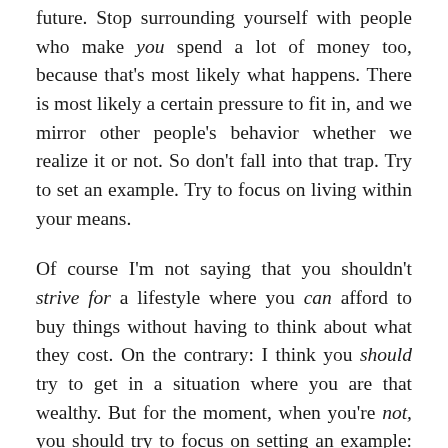future. Stop surrounding yourself with people who make you spend a lot of money too, because that's most likely what happens. There is most likely a certain pressure to fit in, and we mirror other people's behavior whether we realize it or not. So don't fall into that trap. Try to set an example. Try to focus on living within your means.
Of course I'm not saying that you shouldn't strive for a lifestyle where you can afford to buy things without having to think about what they cost. On the contrary: I think you should try to get in a situation where you are that wealthy. But for the moment, when you're not, you should try to focus on setting an example: that this is a